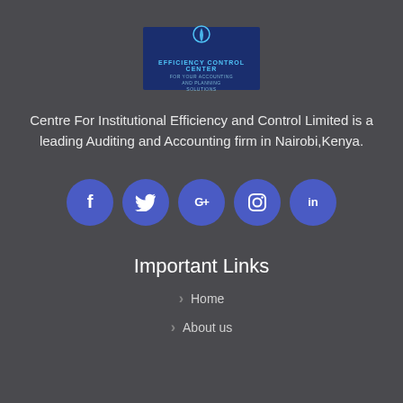[Figure (logo): Efficiency Control Center logo — dark blue rectangle with a stylized droplet/flask icon in light blue, text reading EFFICIENCY CONTROL CENTER and FOR YOUR ACCOUNTING AND PLANNING SOLUTIONS]
Centre For Institutional Efficiency and Control Limited is a leading Auditing and Accounting firm in Nairobi,Kenya.
[Figure (infographic): Five blue circle social media icons in a row: Facebook (f), Twitter (bird), Google+, Instagram, LinkedIn]
Important Links
> Home
> About us